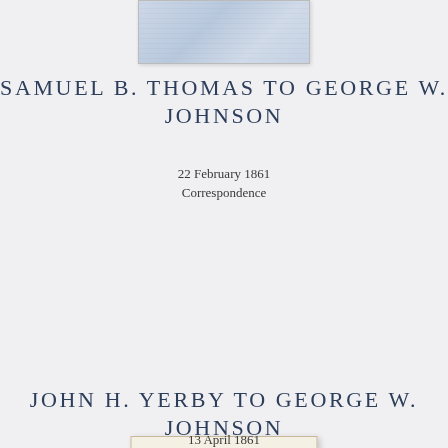[Figure (photo): Partial view of a handwritten historical document, top portion cropped, light blue-gray tones]
SAMUEL B. THOMAS TO GEORGE W. JOHNSON
22 February 1861
Correspondence
[Figure (photo): Handwritten letter on aged paper, cursive script, multiple lines of text, signed at bottom]
JOHN H. YERBY TO GEORGE W. JOHNSON
13 April 1861